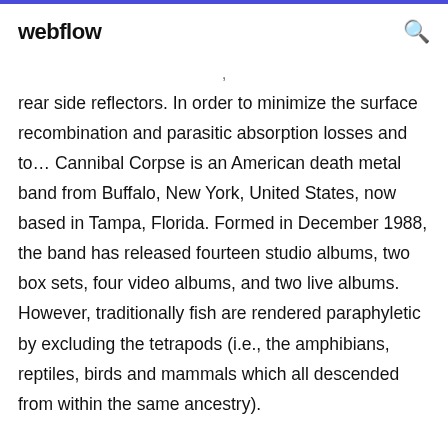webflow
rear side reflectors. In order to minimize the surface recombination and parasitic absorption losses and to… Cannibal Corpse is an American death metal band from Buffalo, New York, United States, now based in Tampa, Florida. Formed in December 1988, the band has released fourteen studio albums, two box sets, four video albums, and two live albums. However, traditionally fish are rendered paraphyletic by excluding the tetrapods (i.e., the amphibians, reptiles, birds and mammals which all descended from within the same ancestry).